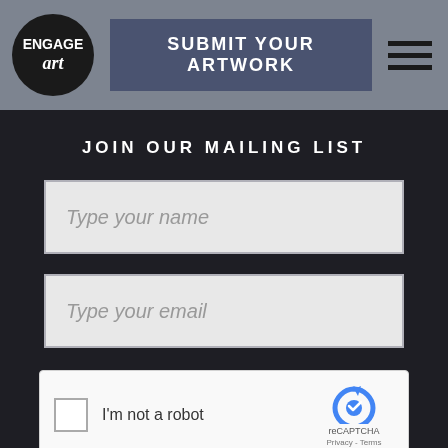ENGAGE art | SUBMIT YOUR ARTWORK
JOIN OUR MAILING LIST
Type your name
Type your email
[Figure (screenshot): reCAPTCHA widget with checkbox labeled I'm not a robot and reCAPTCHA logo with Privacy - Terms links]